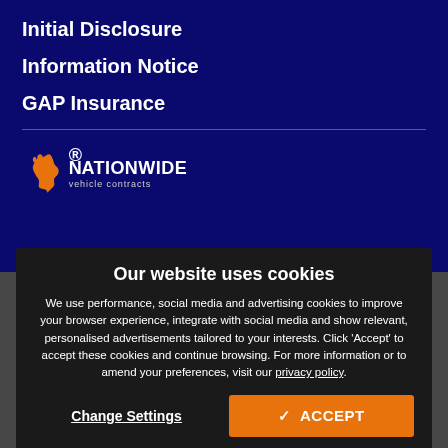Initial Disclosure
Information Notice
GAP Insurance
[Figure (logo): Nationwide Vehicle Contracts logo — white text 'NATIONWIDE' with an orange UK map icon, and 'vehicle contracts' in smaller white text below]
© 2022 Copyright Nationwide Vehicle Contracts Limited. All Rights Reserved.
Our website uses cookies
We use performance, social media and advertising cookies to improve your browser experience, integrate with social media and show relevant, personalised advertisements tailored to your interests. Click 'Accept' to accept these cookies and continue browsing. For more information or to amend your preferences, visit our privacy policy.